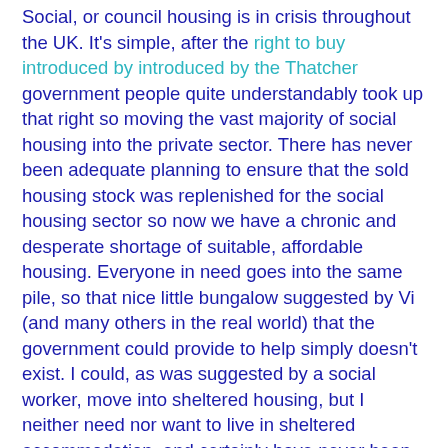Social, or council housing is in crisis throughout the UK. It's simple, after the right to buy introduced by introduced by the Thatcher government people quite understandably took up that right so moving the vast majority of social housing into the private sector. There has never been adequate planning to ensure that the sold housing stock was replenished for the social housing sector so now we have a chronic and desperate shortage of suitable, affordable housing. Everyone in need goes into the same pile, so that nice little bungalow suggested by Vi (and many others in the real world) that the government could provide to help simply doesn't exist. I could, as was suggested by a social worker, move into sheltered housing, but I neither need nor want to live in sheltered accommodation, and certainly have never been able to see why at the age of 28 to be forced into such an environment was in any way in my interests. Even if the social worker did assure me she would do all she could to have the age restriction removed so I would potentially be able to apply to live with the over 65's. That social worker never did understand my lack of gratitude for her most generous offer.
Housing Benefits for government to consider...